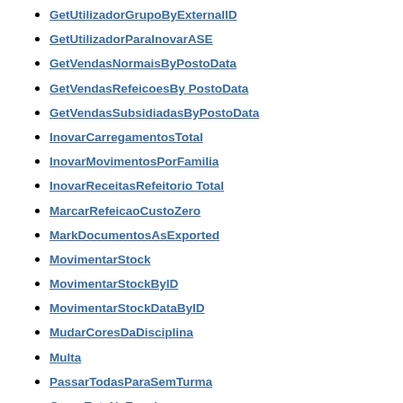GetUtilizadorGrupoByExternalID
GetUtilizadorParaInovarASE
GetVendasNormaisByPostoData
GetVendasRefeicoesBy PostoData
GetVendasSubsidiadasByPostoData
InovarCarregamentosTotal
InovarMovimentosPorFamilia
InovarReceitasRefeitorio Total
MarcarRefeicaoCustoZero
MarkDocumentosAsExported
MovimentarStock
MovimentarStockByID
MovimentarStockDataByID
MudarCoresDaDisciplina
Multa
PassarTodasParaSemTurma
QuemEstaNaEscola
RelatorioCarregamentosPorFuncionarioResumo
RelatorioMovimentosPorFamiliaResumo